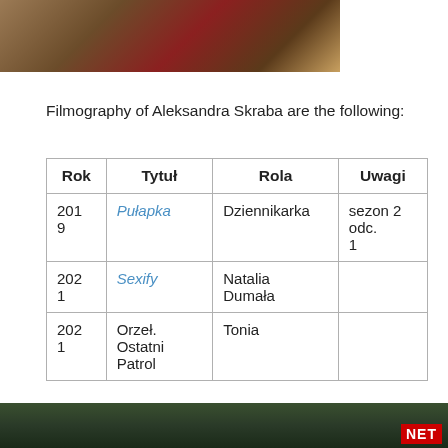[Figure (photo): Top portion of a photo showing a person in dark red/maroon costume with gold accessories, theatrical setting]
Filmography of Aleksandra Skraba are the following:
| Rok | Tytuł | Rola | Uwagi |
| --- | --- | --- | --- |
| 2019 | Pułapka | Dziennikarka | sezon 2 odc. 1 |
| 2021 | Sexify | Natalia Dumała |  |
| 2021 | Orzeł. Ostatni Patrol | Tonia |  |
[Figure (screenshot): YouTube video bar showing QFTV channel logo and title 'Sexify - Comedy, Drama Series Tra...' with options menu icon]
[Figure (screenshot): Netflix video thumbnail showing a dark indoor scene with Netflix logo badge]